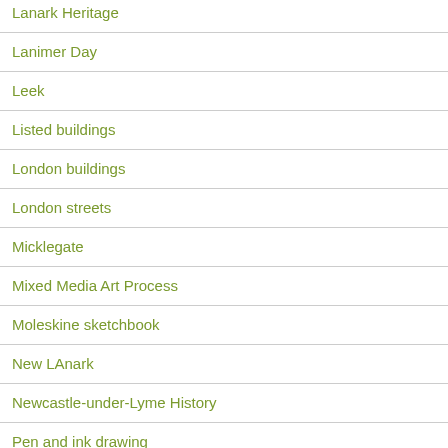Lanark Heritage
Lanimer Day
Leek
Listed buildings
London buildings
London streets
Micklegate
Mixed Media Art Process
Moleskine sketchbook
New LAnark
Newcastle-under-Lyme History
Pen and ink drawing
pencil drawing